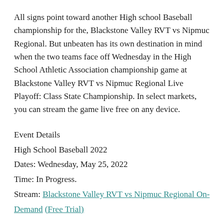All signs point toward another High school Baseball championship for the, Blackstone Valley RVT vs Nipmuc Regional. But unbeaten has its own destination in mind when the two teams face off Wednesday in the High School Athletic Association championship game at Blackstone Valley RVT vs Nipmuc Regional Live Playoff: Class State Championship. In select markets, you can stream the game live free on any device.
Event Details
High School Baseball 2022
Dates: Wednesday, May 25, 2022
Time: In Progress.
Stream: Blackstone Valley RVT vs Nipmuc Regional On-Demand (Free Trial)